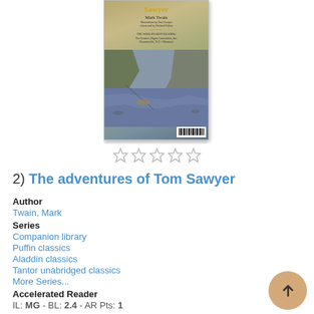[Figure (photo): Book cover of 'The Adventures of Tom Sawyer' by Mark Twain, showing a sepia/green illustrated scene with a river and landscape. Barcode visible at bottom right.]
[Figure (other): Five empty star rating icons in a row]
2) The adventures of Tom Sawyer
Author
Twain, Mark
Series
Companion library
Puffin classics
Aladdin classics
Tantor unabridged classics
More Series...
Accelerated Reader
IL: MG - BL: 2.4 - AR Pts: 1
Language
English
Formats